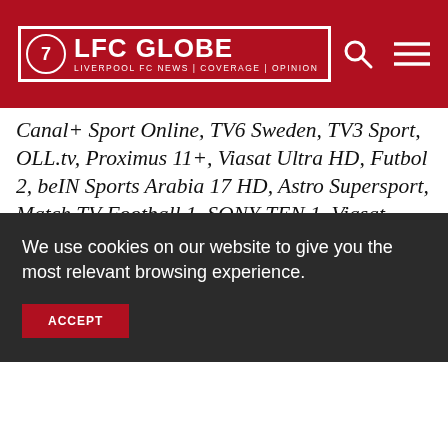LFC GLOBE — LIVERPOOL FC NEWS | COVERAGE | OPINION
Canal+ Sport Online, TV6 Sweden, TV3 Sport, OLL.tv, Proximus 11+, Viasat Ultra HD, Futbol 2, beIN Sports Arabia 17 HD, Astro Supersport, Match TV Football 1, SONY TEN 1, Viasat Sport, Super Soccer TV, Ring.bg, Canal+ Sport, Sky Sport 1 HD, Klik SPORT, Arena Sport 1 Serbia, TeleClub Sports Live, beIN Sports Connect Indonesia, Armenia TV, SONY TEN 1 HD, beIN SPORTS 3 Australia, RTP 1, Stod 2 Sport, Fox Sports Chile., PremiumSport 2 HD, Telekom Sport 2 Romania, beIN
We use cookies on our website to give you the most relevant browsing experience.